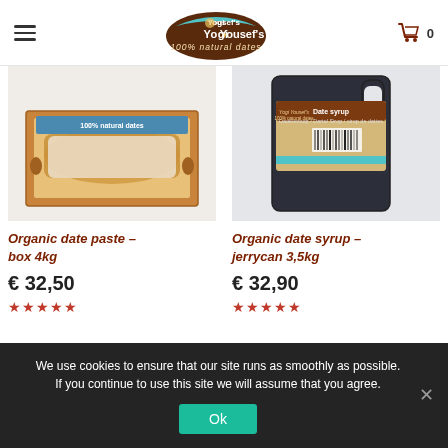[Figure (logo): Yogi & Yousef's 100% natural dates logo — circular badge with teal arc top, brown arc bottom]
[Figure (photo): Open cardboard box containing organic date paste wrapped in white paper, labelled '100% natural dates']
[Figure (photo): Dark plastic jerrycan of organic date syrup with Yogi & Yousef's label, 3.5kg]
Organic date paste – box 4kg
€ 32,50
Organic date syrup – jerrycan 3,5kg
€ 32,90
We use cookies to ensure that our site runs as smoothly as possible. If you continue to use this site we will assume that you agree.